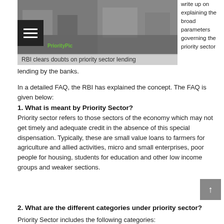[Figure (photo): Photograph showing workers or laborers engaged in construction or agricultural activity, with machinery and equipment visible]
RBI clears doubts on priority sector lending
write up on explaining the broad parameters governing the priority sector lending by the banks.
In a detailed FAQ, the RBI has explained the concept. The FAQ is given below:
1. What is meant by Priority Sector?
Priority sector refers to those sectors of the economy which may not get timely and adequate credit in the absence of this special dispensation. Typically, these are small value loans to farmers for agriculture and allied activities, micro and small enterprises, poor people for housing, students for education and other low income groups and weaker sections.
2. What are the different categories under priority sector?
Priority Sector includes the following categories: